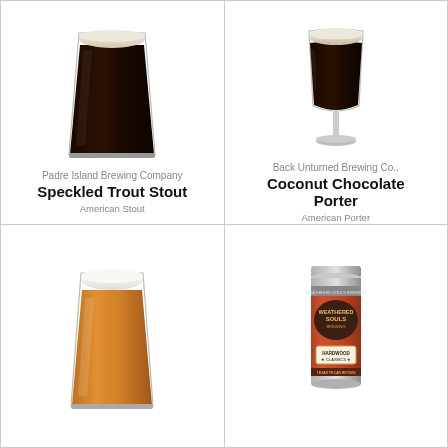[Figure (photo): Dark stout beer in a pint glass with a creamy head]
Padre Island Brewing Company
Speckled Trout Stout
American Stout
[Figure (photo): Dark porter beer in a stemmed goblet glass with a creamy head]
Back Unturned Brewing Co..
Coconut Chocolate Porter
American Porter
[Figure (photo): Golden amber beer in a tall pint glass with a white foamy head]
[Figure (photo): A can of beer with Weathered Souls Brewing label and Hardwood Classics branding]